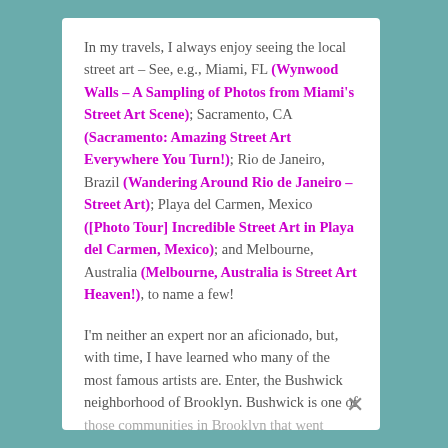In my travels, I always enjoy seeing the local street art – See, e.g., Miami, FL (Wynwood Walls – A Sampling of Photos from Miami's Street Art Scene); Sacramento, CA (Sacramento: Amazing Street Art Everywhere You Turn!); Rio de Janeiro, Brazil (Wandering Around Rio de Janeiro – Street Art); Playa del Carmen, Mexico ([Photo Tour] Incredible Street Art in Playa del Carmen, Mexico); and Melbourne, Australia (Melbourne, Australia is Street Art Heaven!), to name a few!

I'm neither an expert nor an aficionado, but, with time, I have learned who many of the most famous artists are. Enter, the Bushwick neighborhood of Brooklyn. Bushwick is one of those communities in Brooklyn that went through many stages. Initially, it was industrial